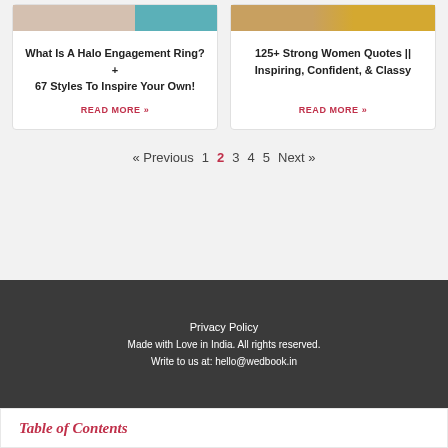[Figure (photo): Left card image - partial view of engagement ring and teal background]
What Is A Halo Engagement Ring? + 67 Styles To Inspire Your Own!
READ MORE »
[Figure (photo): Right card image - flowers and warm golden tones]
125+ Strong Women Quotes || Inspiring, Confident, & Classy
READ MORE »
« Previous  1  2  3  4  5  Next »
Privacy Policy
Made with Love in India. All rights reserved.
Write to us at: hello@wedbook.in
Table of Contents